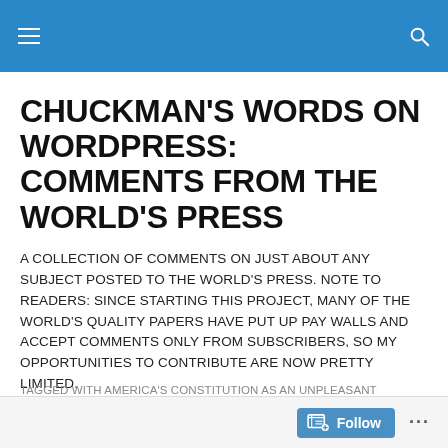CHUCKMAN'S WORDS ON WORDPRESS: COMMENTS FROM THE WORLD'S PRESS
A COLLECTION OF COMMENTS ON JUST ABOUT ANY SUBJECT POSTED TO THE WORLD'S PRESS. NOTE TO READERS: SINCE STARTING THIS PROJECT, MANY OF THE WORLD'S QUALITY PAPERS HAVE PUT UP PAY WALLS AND ACCEPT COMMENTS ONLY FROM SUBSCRIBERS, SO MY OPPORTUNITIES TO CONTRIBUTE ARE NOW PRETTY LIMITED.
TAGGED WITH AMERICA'S CONSTITUTION AS AN UNPLEASANT
Follow